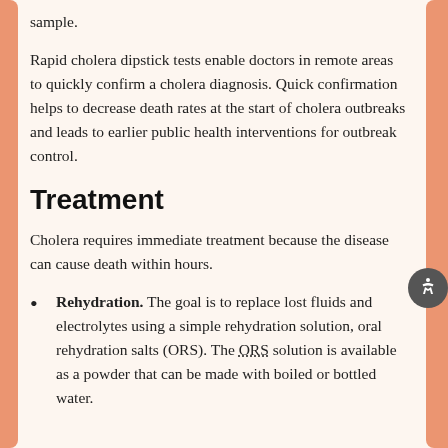sample.
Rapid cholera dipstick tests enable doctors in remote areas to quickly confirm a cholera diagnosis. Quick confirmation helps to decrease death rates at the start of cholera outbreaks and leads to earlier public health interventions for outbreak control.
Treatment
Cholera requires immediate treatment because the disease can cause death within hours.
Rehydration. The goal is to replace lost fluids and electrolytes using a simple rehydration solution, oral rehydration salts (ORS). The ORS solution is available as a powder that can be made with boiled or bottled water.